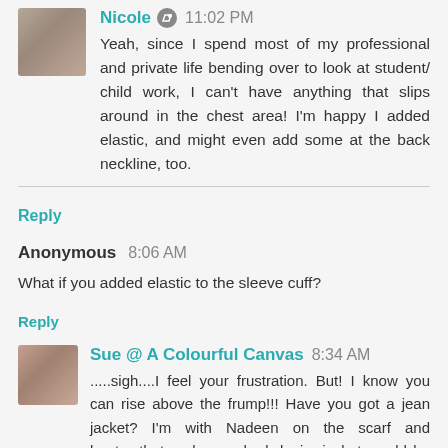Nicole 11:02 PM
Yeah, since I spend most of my professional and private life bending over to look at student/ child work, I can't have anything that slips around in the chest area! I'm happy I added elastic, and might even add some at the back neckline, too.
Reply
Anonymous 8:06 AM
What if you added elastic to the sleeve cuff?
Reply
Sue @ A Colourful Canvas 8:34 AM
.....sigh....I feel your frustration. But! I know you can rise above the frump!!! Have you got a jean jacket? I'm with Nadeen on the scarf and boots...that and a washed denim jacket would be cute. I'm not sure about the sleeves. They